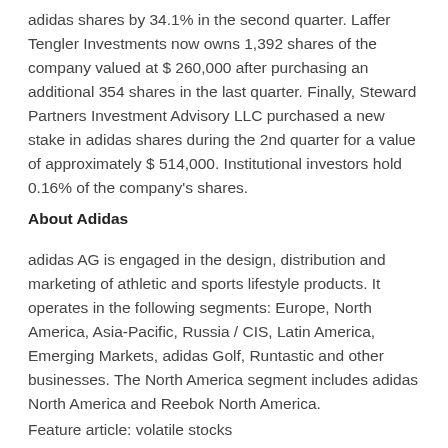adidas shares by 34.1% in the second quarter. Laffer Tengler Investments now owns 1,392 shares of the company valued at $260,000 after purchasing an additional 354 shares in the last quarter. Finally, Steward Partners Investment Advisory LLC purchased a new stake in adidas shares during the 2nd quarter for a value of approximately $ 514,000. Institutional investors hold 0.16% of the company's shares.
About Adidas
adidas AG is engaged in the design, distribution and marketing of athletic and sports lifestyle products. It operates in the following segments: Europe, North America, Asia-Pacific, Russia / CIS, Latin America, Emerging Markets, adidas Golf, Runtastic and other businesses. The North America segment includes adidas North America and Reebok North America.
Feature article: volatile stocks